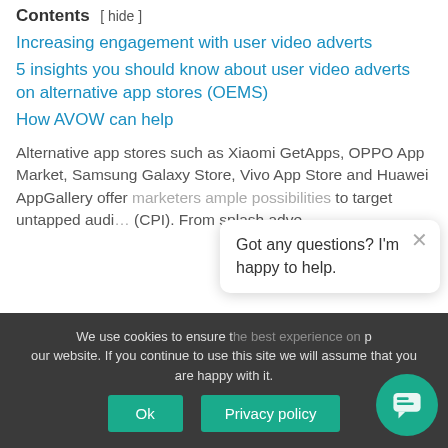Contents [ hide ]
Increasing engagement with user video adverts
5 insights you should know about user video adverts on alternative app stores (OEMS)
How AVOW can help
Alternative app stores such as Xiaomi GetApps, OPPO App Market, Samsung Galaxy Store, Vivo App Store and Huawei AppGallery offer marketers ample possibilities to target untapped audi… (CPI). From splash adve…
Got any questions? I'm happy to help.
We use cookies to ensure the best experience on our website. If you continue to use this site we will assume that you are happy with it.